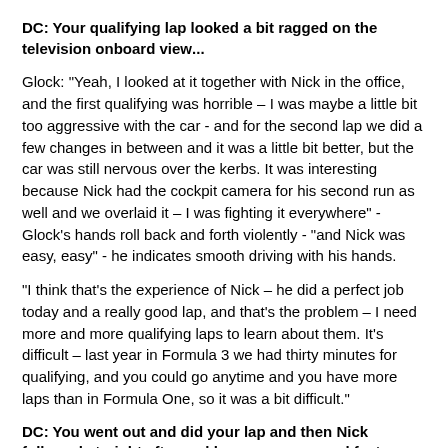DC: Your qualifying lap looked a bit ragged on the television onboard view...
Glock: "Yeah, I looked at it together with Nick in the office, and the first qualifying was horrible – I was maybe a little bit too aggressive with the car - and for the second lap we did a few changes in between and it was a little bit better, but the car was still nervous over the kerbs. It was interesting because Nick had the cockpit camera for his second run as well and we overlaid it – I was fighting it everywhere" - Glock's hands roll back and forth violently - "and Nick was easy, easy" - he indicates smooth driving with his hands.
"I think that's the experience of Nick – he did a perfect job today and a really good lap, and that's the problem – I need more and more qualifying laps to learn about them. It's difficult – last year in Formula 3 we had thirty minutes for qualifying, and you could go anytime and you have more laps than in Formula One, so it was a bit difficult."
DC: You went out and did your lap and then Nick followed straight after and bang – one second faster. Was that demoralising at all? How did you feel about that?